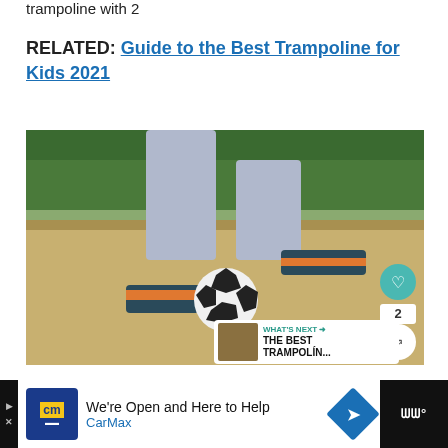trampoline with 2
RELATED: Guide to the Best Trampoline for Kids 2021
[Figure (photo): Person kicking a soccer ball on a sandy/dirt surface, wearing Adidas sneakers and jeans, with trees in background. Overlay elements: teal heart/like button, share button, count '2', 'WHAT'S NEXT' panel showing THE BEST TRAMPOLÍN...]
We're Open and Here to Help CarMax